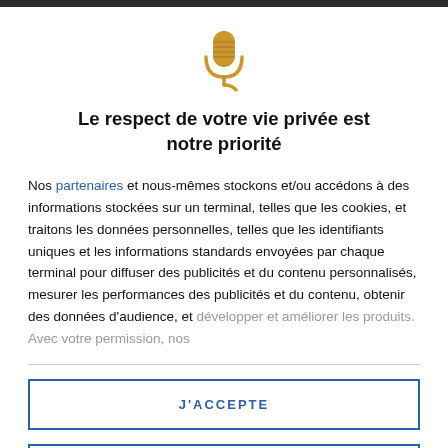[Figure (illustration): Golden microphone icon with a small curved base]
Le respect de votre vie privée est notre priorité
Nos partenaires et nous-mêmes stockons et/ou accédons à des informations stockées sur un terminal, telles que les cookies, et traitons les données personnelles, telles que les identifiants uniques et les informations standards envoyées par chaque terminal pour diffuser des publicités et du contenu personnalisés, mesurer les performances des publicités et du contenu, obtenir des données d'audience, et développer et améliorer les produits. Avec votre permission, nos
J'ACCEPTE
PLUS D'OPTIONS